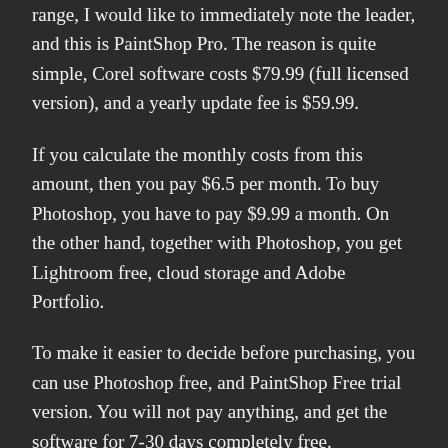range, I would like to immediately note the leader, and this is PaintShop Pro. The reason is quite simple, Corel software costs $79.99 (full licensed version), and a yearly update fee is $59.99.
If you calculate the monthly costs from this amount, then you pay $6.5 per month. To buy Photoshop, you have to pay $9.99 a month. On the other hand, together with Photoshop, you get Lightroom free, cloud storage and Adobe Portfolio.
To make it easier to decide before purchasing, you can use Photoshop free, and PaintShop Free trial version. You will not pay anything, and get the software for 7-30 days completely free.
PaintShop Pro vs Photoshop – Who Wins?